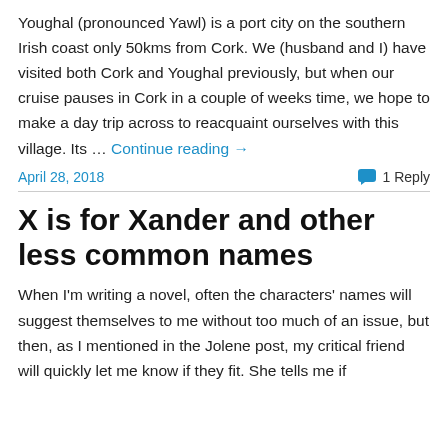Youghal (pronounced Yawl) is a port city on the southern Irish coast only 50kms from Cork. We (husband and I) have visited both Cork and Youghal previously, but when our cruise pauses in Cork in a couple of weeks time, we hope to make a day trip across to reacquaint ourselves with this village. Its … Continue reading →
April 28, 2018
1 Reply
X is for Xander and other less common names
When I'm writing a novel, often the characters' names will suggest themselves to me without too much of an issue, but then, as I mentioned in the Jolene post, my critical friend will quickly let me know if they fit. She tells me if